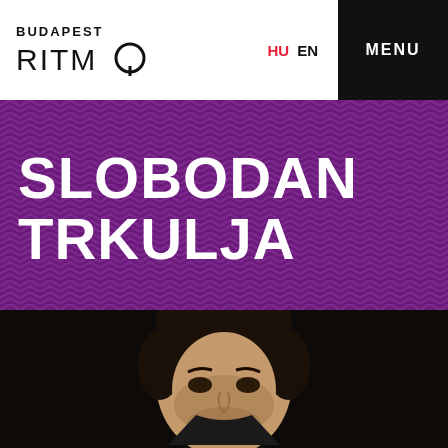BUDAPEST RITMO
SLOBODAN TRKULJA
[Figure (photo): Portrait photo of Slobodan Trkulja, a man with dark slicked-back hair, against a dark background with a warm-lit red/orange element visible behind him.]